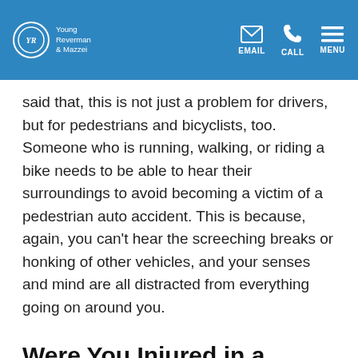Young Reverman & Mazzei | EMAIL | CALL | MENU
said that, this is not just a problem for drivers, but for pedestrians and bicyclists, too. Someone who is running, walking, or riding a bike needs to be able to hear their surroundings to avoid becoming a victim of a pedestrian auto accident. This is because, again, you can't hear the screeching breaks or honking of other vehicles, and your senses and mind are all distracted from everything going on around you.
Were You Injured in a